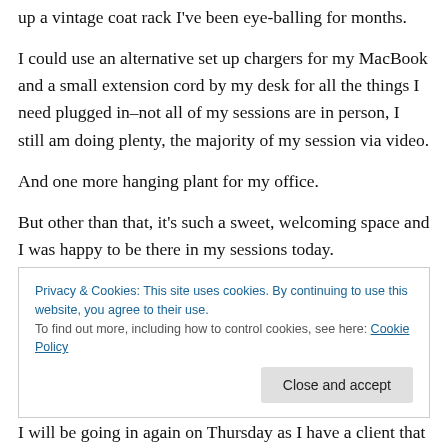up a vintage coat rack I've been eye-balling for months.
I could use an alternative set up chargers for my MacBook and a small extension cord by my desk for all the things I need plugged in–not all of my sessions are in person, I still am doing plenty, the majority of my session via video.
And one more hanging plant for my office.
But other than that, it's such a sweet, welcoming space and I was happy to be there in my sessions today.
Privacy & Cookies: This site uses cookies. By continuing to use this website, you agree to their use. To find out more, including how to control cookies, see here: Cookie Policy
I will be going in again on Thursday as I have a client that